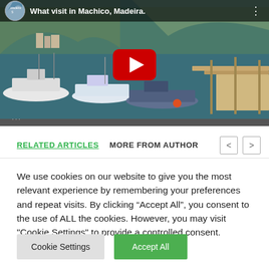[Figure (screenshot): YouTube video thumbnail showing Machico, Madeira marina with boats docked, hills in background. Video title bar at top reads 'What visit in Machico, Madeira.' with a YouTube channel logo. A red YouTube play button is centered on the thumbnail.]
RELATED ARTICLES   MORE FROM AUTHOR
We use cookies on our website to give you the most relevant experience by remembering your preferences and repeat visits. By clicking “Accept All”, you consent to the use of ALL the cookies. However, you may visit "Cookie Settings" to provide a controlled consent.
Cookie Settings   Accept All